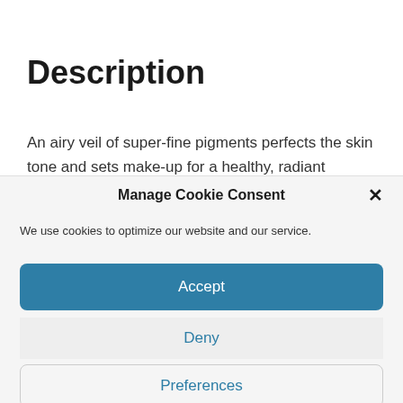Description
An airy veil of super-fine pigments perfects the skin tone and sets make-up for a healthy, radiant
Manage Cookie Consent
We use cookies to optimize our website and our service.
Accept
Deny
Preferences